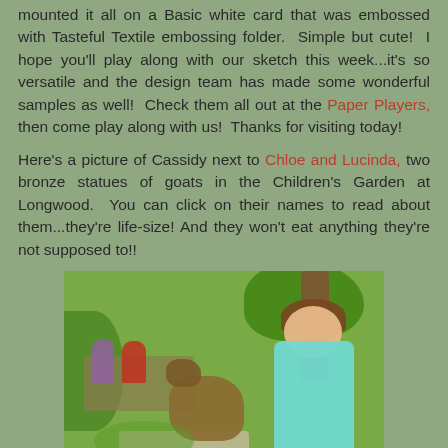mounted it all on a Basic white card that was embossed with Tasteful Textile embossing folder.  Simple but cute!  I hope you'll play along with our sketch this week...it's so versatile and the design team has made some wonderful samples as well!  Check them all out at the Paper Players, then come play along with us!  Thanks for visiting today!
Here's a picture of Cassidy next to Chloe and Lucinda, two bronze statues of goats in the Children's Garden at Longwood.  You can click on their names to read about them...they're life-size! And they won't eat anything they're not supposed to!!
[Figure (photo): Photo of a young girl with glasses and a teal sleeveless top, smiling next to bronze goat statues in the Children's Garden at Longwood. Green trees and foliage in background, two people seated on a bench in the far left background.]